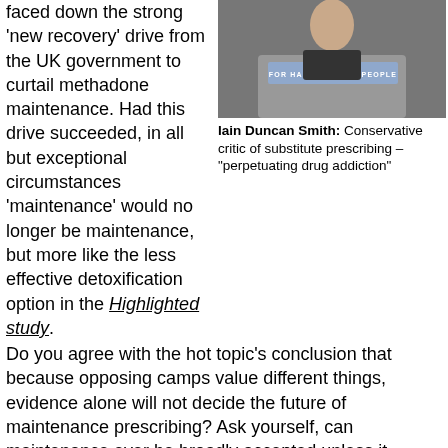faced down the strong 'new recovery' drive from the UK government to curtail methadone maintenance. Had this drive succeeded, in all but exceptional circumstances 'maintenance' would no longer be maintenance, but more like the less effective detoxification option in the Highlighted study.
[Figure (photo): Photo of Iain Duncan Smith speaking at a podium with banner reading 'FOR HARDWORKING PEOPLE']
Iain Duncan Smith: Conservative critic of substitute prescribing – "perpetuating drug addiction"
Do you agree with the hot topic's conclusion that because opposing camps value different things, evidence alone will not decide the future of maintenance prescribing? Ask yourself, can maintenance ever be broadly accepted unless it becomes seen as a route to abstinence for the majority? Should we relegate its indefinite application to a fallback position when reaching for abstinence seems impossible or too risky? – the line taken by the 1926 Rolleston report which legitimated what we now know as maintenance. Or is indefinite maintenance as valid an outcome as being 'drug-free', one which should "not be